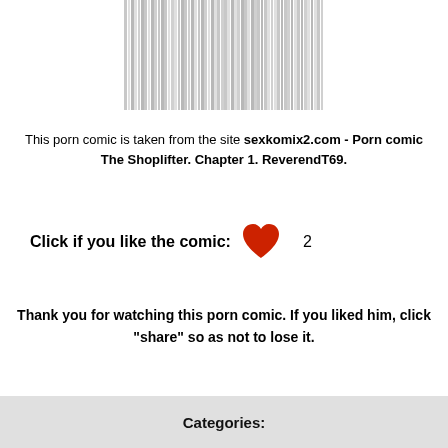[Figure (other): Barcode-like striped image at top center of page]
This porn comic is taken from the site sexkomix2.com - Porn comic The Shoplifter. Chapter 1. ReverendT69.
Click if you like the comic:  ❤  2
Thank you for watching this porn comic. If you liked him, click "share" so as not to lose it.
Categories: